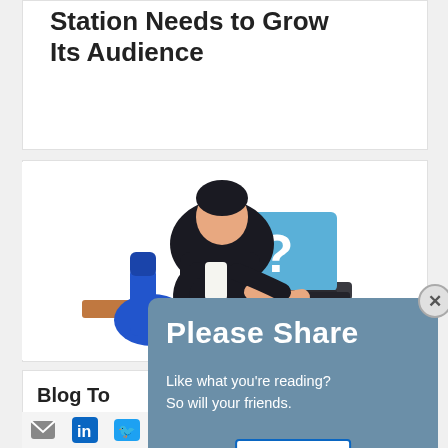Station Needs to Grow Its Audience
[Figure (illustration): Illustration of a person in a dark suit sitting hunched over a laptop at a desk, appearing stressed or thinking, with a blue chair behind them and a laptop displaying a question mark on its screen.]
Blog To... for Radi...
More Guid...
[Figure (screenshot): Popup overlay with steel blue background. Header says 'Please Share' in large bold white text. Body says 'Like what you’re reading? So will your friends.' with a LinkedIn Share button below.]
Share